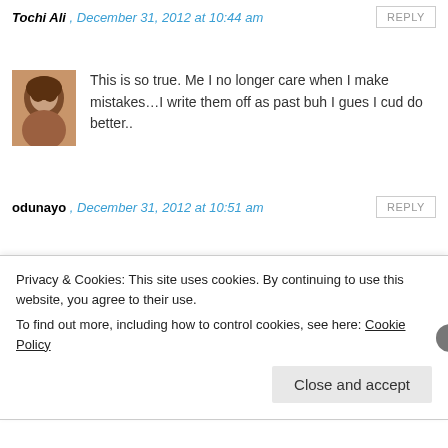Tochi Ali , December 31, 2012 at 10:44 am
[Figure (photo): User avatar photo of a person with curly hair]
This is so true. Me I no longer care when I make mistakes…I write them off as past buh I gues I cud do better..
odunayo , December 31, 2012 at 10:51 am
[Figure (illustration): Teal and white geometric pattern avatar]
Epic!!! I like! I love!!!! Well done 😀
Yeni , December 31, 2012 at 10:56 am
Privacy & Cookies: This site uses cookies. By continuing to use this website, you agree to their use.
To find out more, including how to control cookies, see here: Cookie Policy